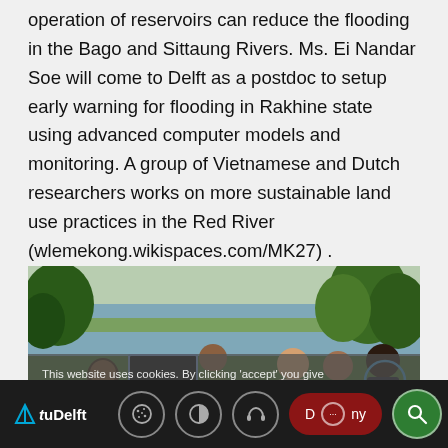operation of reservoirs can reduce the flooding in the Bago and Sittaung Rivers. Ms. Ei Nandar Soe will come to Delft as a postdoc to setup early warning for flooding in Rakhine state using advanced computer models and monitoring. A group of Vietnamese and Dutch researchers works on more sustainable land use practices in the Red River (wlemekong.wikispaces.com/MK27) .
[Figure (photo): Group of researchers outdoors near a river or lake, examining a map together. Cookie consent overlay partially obscures the image.]
TU Delft — website footer with cookie icon, contrast icon, audio icon, Deny button, Accept (search) button